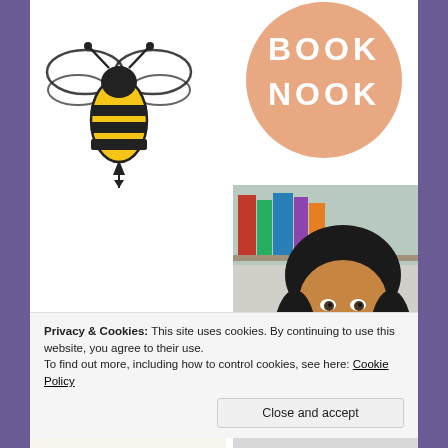[Figure (logo): Bee logo illustration — a black and yellow striped bee with wings, on white background]
[Figure (logo): Book Nook badge — peach/salmon colored circle with text BOOK NOOK in white uppercase letters]
[Figure (photo): Portrait photo of a young woman with long dark hair, smiling, with bookshelves visible in background]
[Figure (illustration): The Bashful — decorative banner with pine trees and script text on cream background]
[Figure (logo): Gray circular logo placeholder]
Privacy & Cookies: This site uses cookies. By continuing to use this website, you agree to their use.
To find out more, including how to control cookies, see here: Cookie Policy
Close and accept